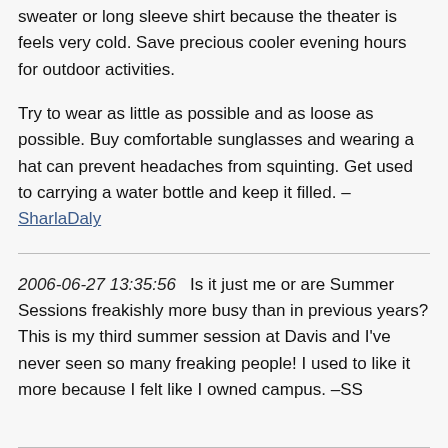the hottest time of the day. It's cheaper anyway. Bring a sweater or long sleeve shirt because the theater is feels very cold. Save precious cooler evening hours for outdoor activities.
Try to wear as little as possible and as loose as possible. Buy comfortable sunglasses and wearing a hat can prevent headaches from squinting. Get used to carrying a water bottle and keep it filled. –SharlaDaly
2006-06-27 13:35:56   Is it just me or are Summer Sessions freakishly more busy than in previous years? This is my third summer session at Davis and I've never seen so many freaking people! I used to like it more because I felt like I owned campus. –SS